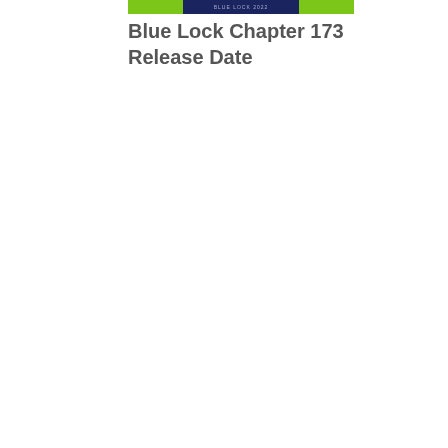[Figure (illustration): A banner/header image for Blue Lock Chapter 173, showing a dark navy blue background with green accents and some text elements including what appears to be manga-related branding.]
Blue Lock Chapter 173 Release Date